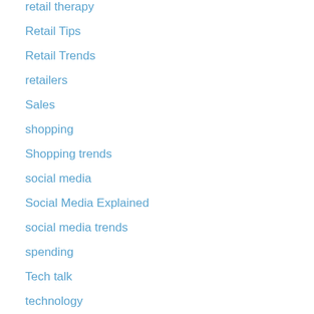retail therapy
Retail Tips
Retail Trends
retailers
Sales
shopping
Shopping trends
social media
Social Media Explained
social media trends
spending
Tech talk
technology
Technology Trends
Textbook buyback
textbook rental
Thanksgiving
Tips and Tricks
trade show
Uncategorized